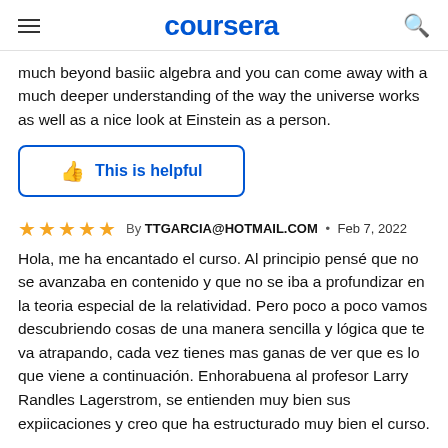coursera
much beyond basiic algebra and you can come away with a much deeper understanding of the way the universe works as well as a nice look at Einstein as a person.
[Figure (other): This is helpful button with thumbs-up icon, blue border rounded rectangle]
By TTGARCIA@HOTMAIL.COM • Feb 7, 2022 — 5 stars rating
Hola, me ha encantado el curso. Al principio pensé que no se avanzaba en contenido y que no se iba a profundizar en la teoria especial de la relatividad. Pero poco a poco vamos descubriendo cosas de una manera sencilla y lógica que te va atrapando, cada vez tienes mas ganas de ver que es lo que viene a continuación.  Enhorabuena al profesor Larry Randles Lagerstrom, se entienden muy bien sus expiicaciones y creo que ha estructurado muy bien el curso.